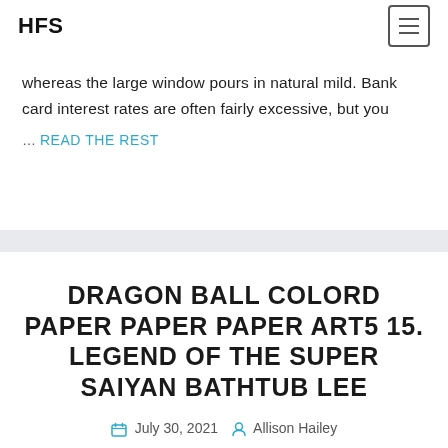HFS
whereas the large window pours in natural mild. Bank card interest rates are often fairly excessive, but you
… READ THE REST
DRAGON BALL COLORD PAPER PAPER PAPER ART5 15. LEGEND OF THE SUPER SAIYAN BATHTUB LEE
July 30, 2021  Allison Hailey